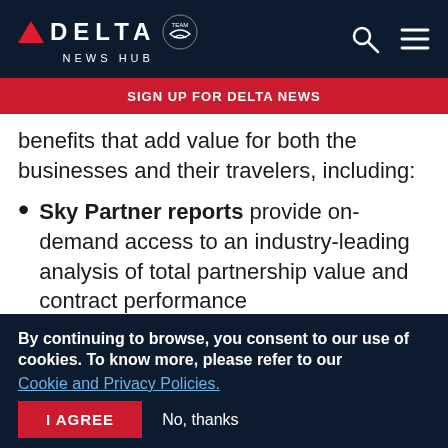DELTA NEWS HUB
SIGN UP FOR DELTA NEWS
benefits that add value for both the businesses and their travelers, including:
Sky Partner reports provide on-demand access to an industry-leading analysis of total partnership value and contract performance
24/7 global live sales support means Delta is ready to respond to a customer's needs with
By continuing to browse, you consent to our use of cookies. To know more, please refer to our Cookie and Privacy Policies.
I AGREE   No, thanks